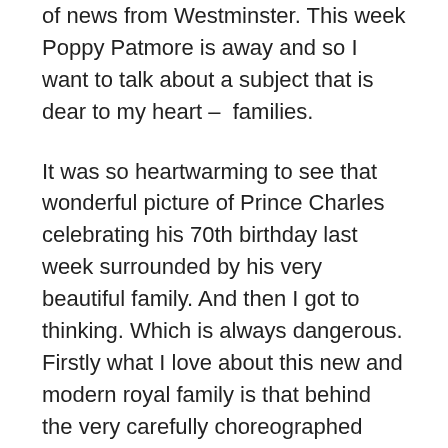of news from Westminster. This week Poppy Patmore is away and so I want to talk about a subject that is dear to my heart –  families.
It was so heartwarming to see that wonderful picture of Prince Charles celebrating his 70th birthday last week surrounded by his very beautiful family. And then I got to thinking. Which is always dangerous. Firstly what I love about this new and modern royal family is that behind the very carefully choreographed photo (note that it was all colour co-ordinated) is a family just like all of ours... a little dysfunctional. So are they starting to be more like all of us? That is, normal?
We all know that well-known quote from Harper Lee, "You never really understand a family until...